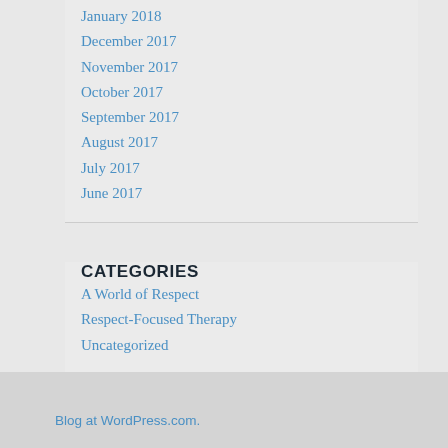January 2018
December 2017
November 2017
October 2017
September 2017
August 2017
July 2017
June 2017
CATEGORIES
A World of Respect
Respect-Focused Therapy
Uncategorized
Blog at WordPress.com.